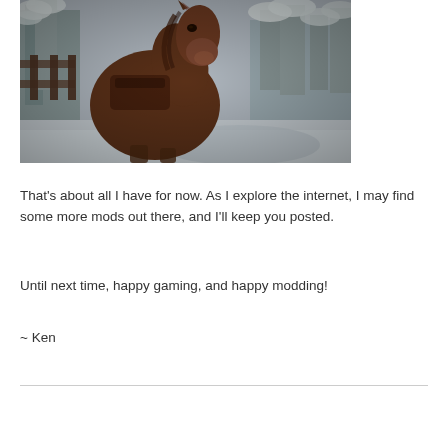[Figure (screenshot): A brown horse facing the camera in a snowy winter landscape, from a video game (appears to be Skyrim). Snow-covered trees and rocky terrain visible in the background.]
That’s about all I have for now. As I explore the internet, I may find some more mods out there, and I’ll keep you posted.
Until next time, happy gaming, and happy modding!
~ Ken